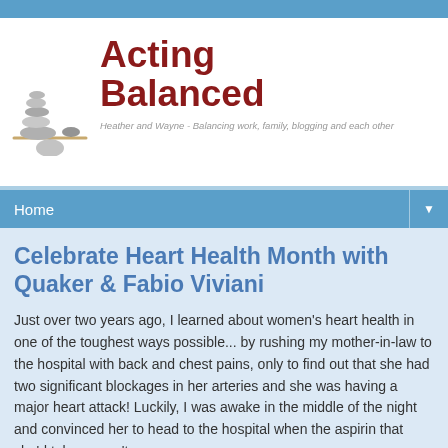[Figure (logo): Acting Balanced blog logo with stacked stones image and text 'Acting Balanced' in dark red, subtitle 'Heather and Wayne - Balancing work, family, blogging and each other']
Home
Celebrate Heart Health Month with Quaker & Fabio Viviani
Just over two years ago, I learned about women's heart health in one of the toughest ways possible... by rushing my mother-in-law to the hospital with back and chest pains, only to find out that she had two significant blockages in her arteries and she was having a major heart attack!  Luckily, I was awake in the middle of the night and convinced her to head to the hospital when the aspirin that she'd taken wasn't